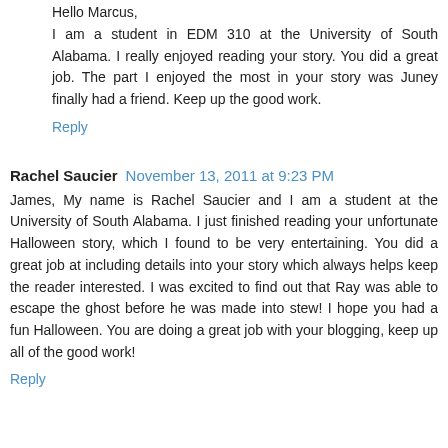Hello Marcus,
I am a student in EDM 310 at the University of South Alabama. I really enjoyed reading your story. You did a great job. The part I enjoyed the most in your story was Juney finally had a friend. Keep up the good work.
Reply
Rachel Saucier  November 13, 2011 at 9:23 PM
James, My name is Rachel Saucier and I am a student at the University of South Alabama. I just finished reading your unfortunate Halloween story, which I found to be very entertaining. You did a great job at including details into your story which always helps keep the reader interested. I was excited to find out that Ray was able to escape the ghost before he was made into stew! I hope you had a fun Halloween. You are doing a great job with your blogging, keep up all of the good work!
Reply